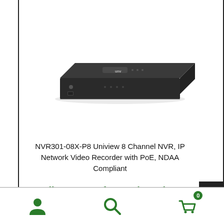[Figure (photo): Product photo of a black UNV NVR device (network video recorder) — a flat rectangular box with front panel showing the UNV logo and USB port, shown at a slight angle on white background.]
NVR301-08X-P8 Uniview 8 Channel NVR, IP Network Video Recorder with PoE, NDAA Compliant
Call or Log In for Dealer Price